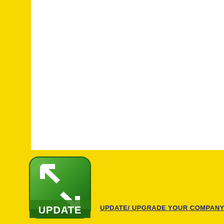[Figure (logo): Green rounded square logo with two white arrows (one pointing up-left, one pointing down-right) and the word UPDATE in white text at the bottom]
UPDATE/ UPGRADE YOUR COMPANY